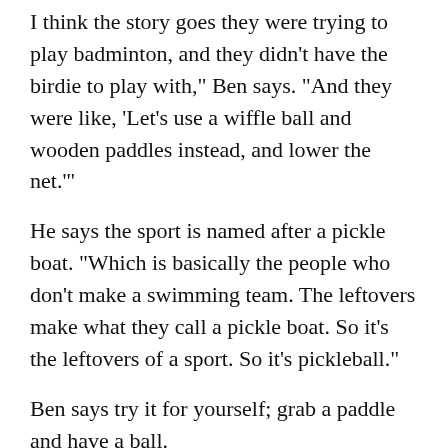I think the story goes they were trying to play badminton, and they didn't have the birdie to play with," Ben says. "And they were like, 'Let's use a wiffle ball and wooden paddles instead, and lower the net.'"
He says the sport is named after a pickle boat. "Which is basically the people who don't make a swimming team. The leftovers make what they call a pickle boat. So it's the leftovers of a sport. So it's pickleball."
Ben says try it for yourself; grab a paddle and have a ball.
"I've seen people get hooked the very first time they play."